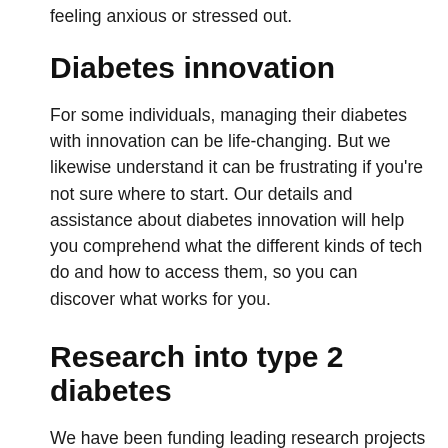feeling anxious or stressed out.
Diabetes innovation
For some individuals, managing their diabetes with innovation can be life-changing. But we likewise understand it can be frustrating if you're not sure where to start. Our details and assistance about diabetes innovation will help you comprehend what the different kinds of tech do and how to access them, so you can discover what works for you.
Research into type 2 diabetes
We have been funding leading research projects into type 2 diabetes for over 80 years. You can